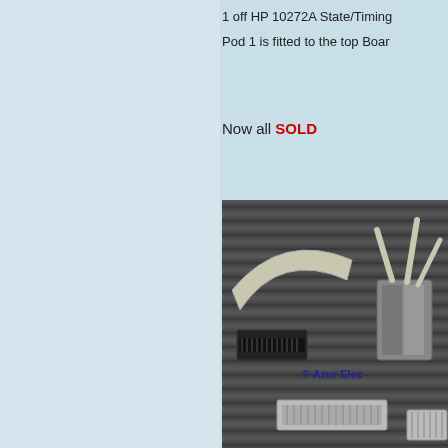1 off HP 10272A State/Timing Pod 1 is fitted to the top Board
Now all SOLD
[Figure (photo): Photo of HP 10272A State/Timing Pod cables and connectors on a dark corrugated surface, with watermark '© Azur Elec']